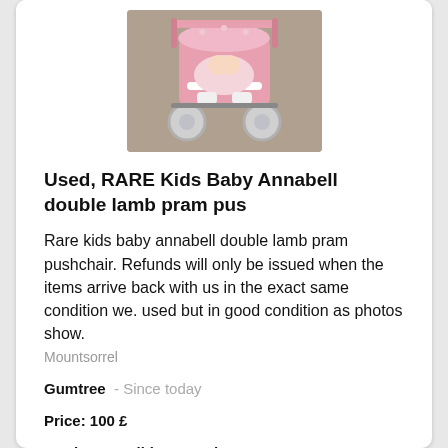[Figure (photo): Photo of a pink Baby Annabell double lamb pram pushchair toy, viewed from the front, on a grey/beige floor background.]
Used, RARE Kids Baby Annabell double lamb pram pus
Rare kids baby annabell double lamb pram pushchair. Refunds will only be issued when the items arrive back with us in the exact same condition we. used but in good condition as photos show.
Mountsorrel
Gumtree  - Since today
Price: 100 £
Product condition: Used
See details